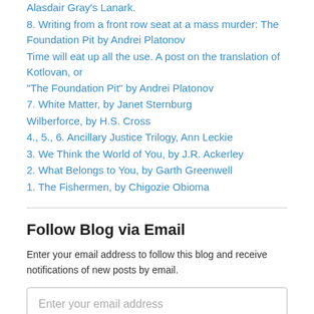Alasdair Gray's Lanark.
8. Writing from a front row seat at a mass murder: The Foundation Pit by Andrei Platonov
Time will eat up all the use. A post on the translation of Kotlovan, or “The Foundation Pit” by Andrei Platonov
7. White Matter, by Janet Sternburg
Wilberforce, by H.S. Cross
4., 5., 6. Ancillary Justice Trilogy, Ann Leckie
3. We Think the World of You, by J.R. Ackerley
2. What Belongs to You, by Garth Greenwell
1. The Fishermen, by Chigozie Obioma
Follow Blog via Email
Enter your email address to follow this blog and receive notifications of new posts by email.
Enter your email address